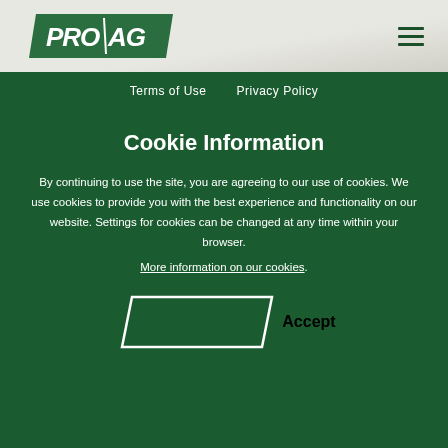[Figure (logo): PRO AG logo — white italic text on dark green parallelogram background]
Terms of Use   Privacy Policy
Cookie Information
By continuing to use the site, you are agreeing to our use of cookies. We use cookies to provide you with the best experience and functionality on our website. Settings for cookies can be changed at any time within your browser.
More information on our cookies.
Accept